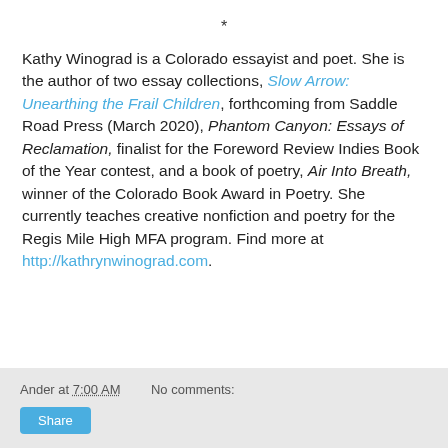*
Kathy Winograd is a Colorado essayist and poet. She is the author of two essay collections, Slow Arrow: Unearthing the Frail Children, forthcoming from Saddle Road Press (March 2020), Phantom Canyon: Essays of Reclamation, finalist for the Foreword Review Indies Book of the Year contest, and a book of poetry, Air Into Breath, winner of the Colorado Book Award in Poetry. She currently teaches creative nonfiction and poetry for the Regis Mile High MFA program. Find more at http://kathrynwinograd.com.
Ander at 7:00 AM   No comments:   Share